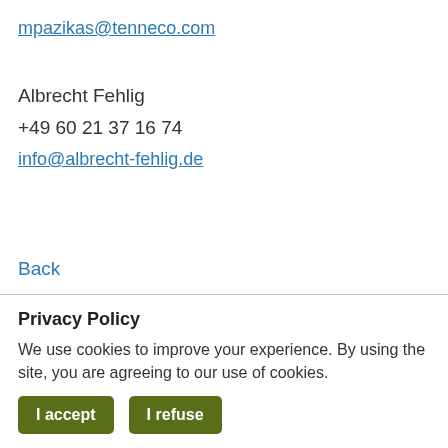mpazikas@tenneco.com
Albrecht Fehlig
+49 60 21 37 16 74
info@albrecht-fehlig.de
Back
Privacy Policy
We use cookies to improve your experience. By using the site, you are agreeing to our use of cookies.
I accept
I refuse